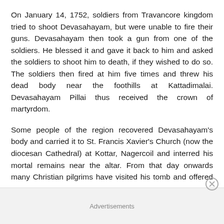On January 14, 1752, soldiers from Travancore kingdom tried to shoot Devasahayam, but were unable to fire their guns. Devasahayam then took a gun from one of the soldiers. He blessed it and gave it back to him and asked the soldiers to shoot him to death, if they wished to do so. The soldiers then fired at him five times and threw his dead body near the foothills at Kattadimalai. Devasahayam Pillai thus received the crown of martyrdom.
Some people of the region recovered Devasahayam's body and carried it to St. Francis Xavier's Church (now the diocesan Cathedral) at Kottar, Nagercoil and interred his mortal remains near the altar. From that day onwards many Christian pilgrims have visited his tomb and offered prayers.
Advertisements